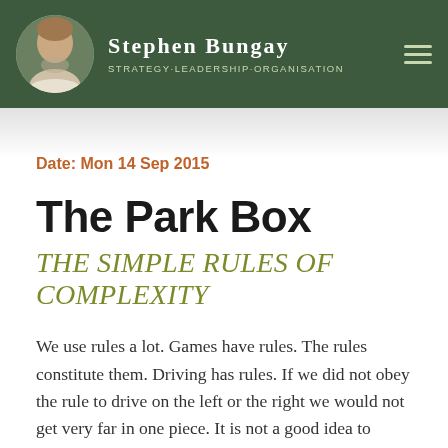Stephen Bungay — Strategy-Leadership-Organisation
Date: Mon 14 Sep 2015
The Park Box
THE SIMPLE RULES OF COMPLEXITY
We use rules a lot. Games have rules. The rules constitute them. Driving has rules. If we did not obey the rule to drive on the left or the right we would not get very far in one piece. It is not a good idea to interpret that rule liberally. Better to just stick to it, even if you